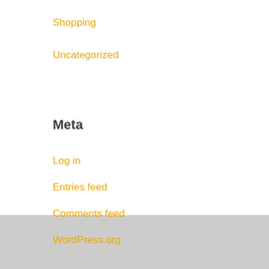Shopping
Uncategorized
Meta
Log in
Entries feed
Comments feed
WordPress.org